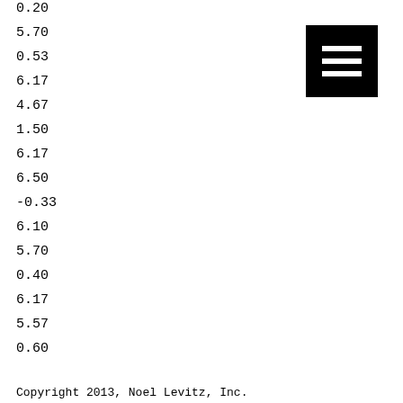0.20
5.70
0.53
6.17
4.67
1.50
6.17
6.50
-0.33
6.10
5.70
0.40
6.17
5.57
0.60
Copyright 2013, Noel Levitz, Inc.